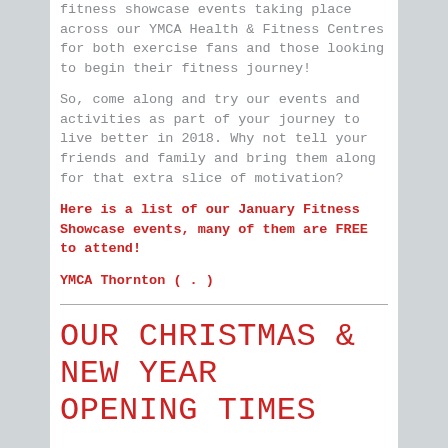fitness showcase events taking place across our YMCA Health & Fitness Centres for both exercise fans and those looking to begin their fitness journey!
So, come along and try our events and activities as part of your journey to live better in 2018. Why not tell your friends and family and bring them along for that extra slice of motivation?
Here is a list of our January Fitness Showcase events, many of them are FREE to attend!
YMCA Thornton ( . )
OUR CHRISTMAS & NEW YEAR OPENING TIMES